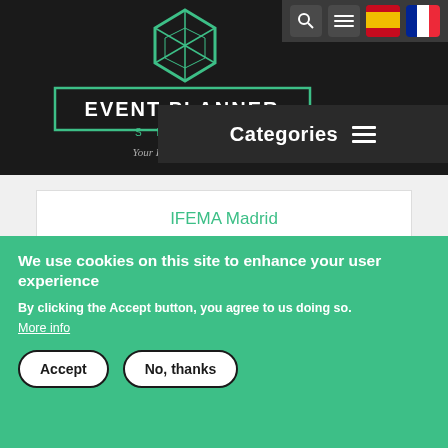[Figure (logo): Event Planner Spain logo - green geometric diamond icon above rectangular bordered text reading EVENT PLANNER with SPAIN below and italic tagline Your Portal for Events]
[Figure (screenshot): Navigation header with dark background, top icon bar with search, menu, Spanish flag and French flag icons, Categories menu button on right]
IFEMA Madrid
[Figure (logo): IFEMA logo on dark navy background with orange/red angular chevron shape on the left and white bold text IFEMA]
We use cookies on this site to enhance your user experience
By clicking the Accept button, you agree to us doing so.
More info
Accept
No, thanks